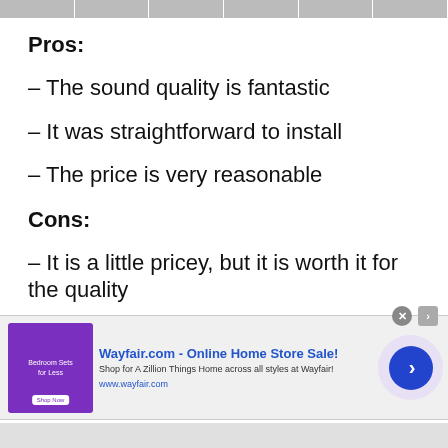Pros:
– The sound quality is fantastic
– It was straightforward to install
– The price is very reasonable
Cons:
– It is a little pricey, but it is worth it for the quality